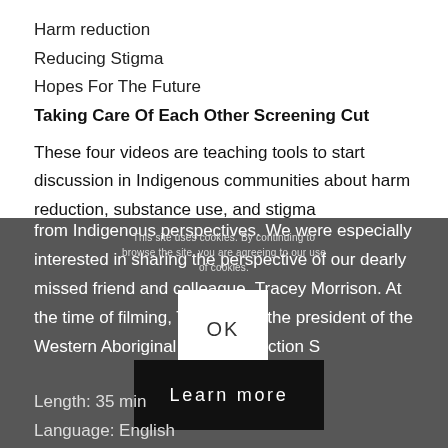Harm reduction
Reducing Stigma
Hopes For The Future
Taking Care Of Each Other Screening Cut
These four videos are teaching tools to start discussion in Indigenous communities about harm reduction, substance use, and stigma from Indigenous perspectives. We were especially interested in sharing the perspective of our dearly missed friend and colleague, Tracey Morrison. At the time of filming, Tracey was the president of the Western Aboriginal Harm Reduction Society.
Length: 35 min
Language: English
Producer: Andrea Medley
This site uses cookies. By continuing to browse the site, you are agreeing to our use of cookies.
OK
Learn more